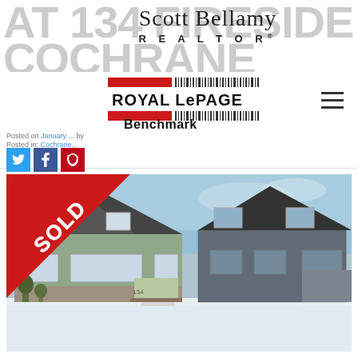AT 134 FIRESIDE COVE IN COCHRANE
[Figure (logo): Scott Bellamy REALTOR logo with Royal LePage Benchmark branding]
Posted on January ... by
Posted in: Cochrane...
[Figure (photo): Photo of a house at 134 Fireside Cove in Cochrane with a red SOLD banner overlay on the lower-left corner. Two-storey home with grey siding and stone accents in a snowy winter setting.]